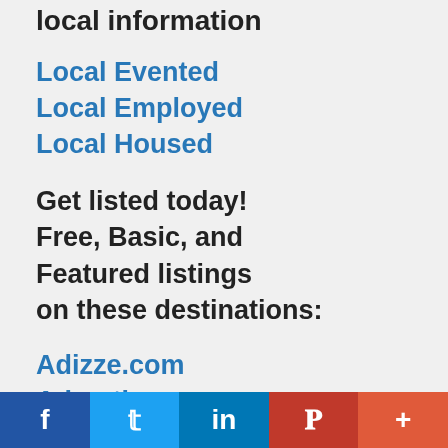local information
Local Evented
Local Employed
Local Housed
Get listed today! Free, Basic, and Featured listings on these destinations:
Adizze.com
Advertiserzz.com
AdvertisingCEO.com
Bizizze.com
Brandizze.com
f  t  in  P  +